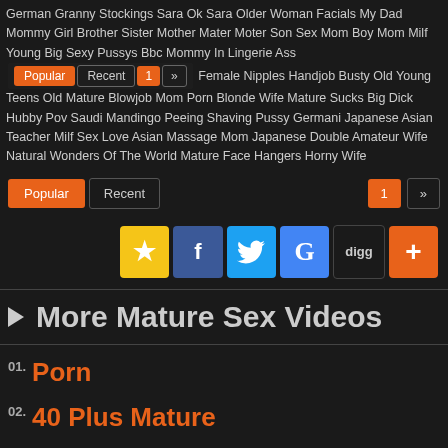German Granny Stockings Sara Ok Sara Older Woman Facials My Dad Mommy Girl Brother Sister Mother Mater Moter Son Sex Mom Boy Mom Milf Young Big Sexy Pussys Bbc Mommy In Lingerie Ass Female Nipples Handjob Busty Old Young Teens Old Mature Blowjob Mom Porn Blonde Wife Mature Sucks Big Dick Hubby Pov Saudi Mandingo Peeing Shaving Pussy Germani Japanese Asian Teacher Milf Sex Love Asian Massage Mom Japanese Double Amateur Wife Natural Wonders Of The World Mature Face Hangers Horny Wife
01. Porn
02. 40 Plus Mature
03. Old Lady Porn
04. Mature Pornolar